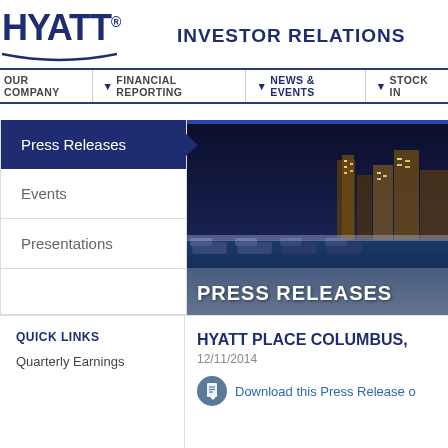HYATT® INVESTOR RELATIONS
OUR COMPANY | FINANCIAL REPORTING | NEWS & EVENTS | STOCK IN...
Press Releases
Events
Presentations
[Figure (photo): Rooftop pool area with lounge chairs at dusk, city skyline in background, with PRESS RELEASES overlay text]
QUICK LINKS
Quarterly Earnings
HYATT PLACE COLUMBUS,
12/11/2014
Download this Press Release o